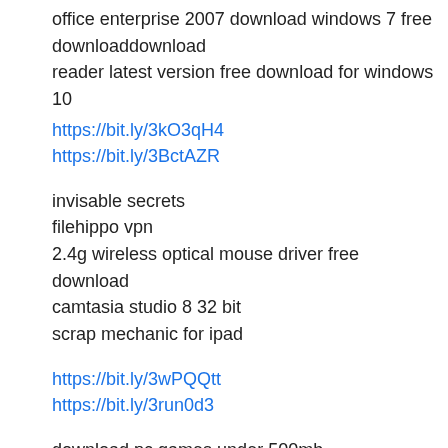office enterprise 2007 download windows 7 free downloaddownload reader latest version free download for windows 10
https://bit.ly/3kO3qH4
https://bit.ly/3BctAZR
invisable secrets
filehippo vpn
2.4g wireless optical mouse driver free download
camtasia studio 8 32 bit
scrap mechanic for ipad
https://bit.ly/3wPQQtt
https://bit.ly/3run0d3
download pc games under 500mb
download gta 5 beta version pc for free
lync 2013 64 bit download for windows 10
windows 10 enterprise no hibernate free download
update microsoft outlook 2013 to 2016 free download
download windows xp service pack 1 free
kmspico download for windows 10
krita download windows 10
windows 7 virtual pc xp mode free download